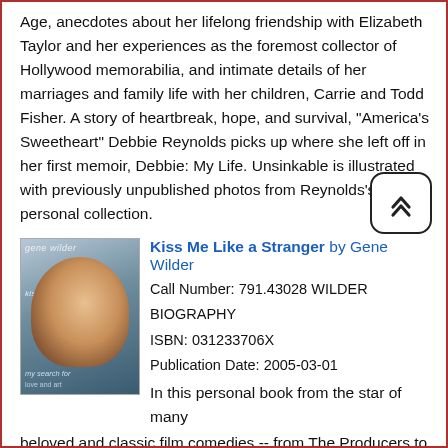Age, anecdotes about her lifelong friendship with Elizabeth Taylor and her experiences as the foremost collector of Hollywood memorabilia, and intimate details of her marriages and family life with her children, Carrie and Todd Fisher. A story of heartbreak, hope, and survival, "America's Sweetheart" Debbie Reynolds picks up where she left off in her first memoir, Debbie: My Life. Unsinkable is illustrated with previously unpublished photos from Reynolds's personal collection.
[Figure (photo): Book cover of 'Kiss Me Like a Stranger' by Gene Wilder showing a man's face]
Kiss Me Like a Stranger by Gene Wilder
Call Number: 791.43028 WILDER
BIOGRAPHY
ISBN: 031233706X
Publication Date: 2005-03-01
In this personal book from the star of many beloved and classic film comedies -- from The Producers to Young Frankenstein, Blazing saddles to Willy Wonka and the Chocolate Factory -- Gene Wilder writes about a side of